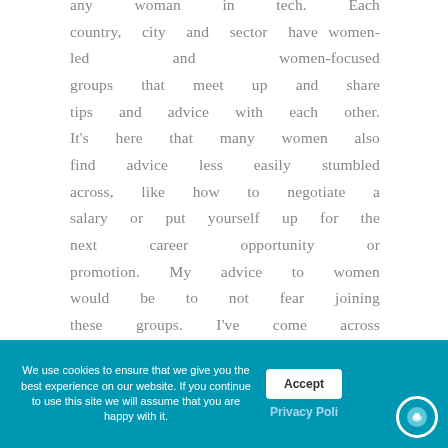any woman in tech. Each country, city and sector have women-led and women-focused groups that meet up and share tips and advice with each other. It's here that many women also find advice less easily stumbled across, like how to negotiate a salary or put yourself up for the next career opportunity or promotion. My advice to women would be to not fear joining these groups. I've come across plenty that are suited to
We use cookies to ensure that we give you the best experience on our website. If you continue to use this site we will assume that you are happy with it.